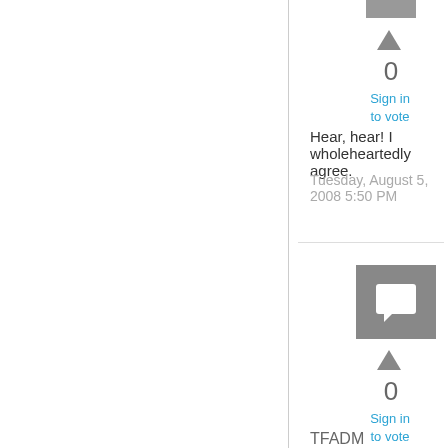[Figure (illustration): Partial gray avatar/user icon at top]
▲
0
Sign in
to vote
Hear, hear!  I wholeheartedly agree.
Tuesday, August 5, 2008 5:50 PM
[Figure (illustration): Gray square avatar with white speech bubble chat icon]
▲
0
Sign in
to vote
TFADM